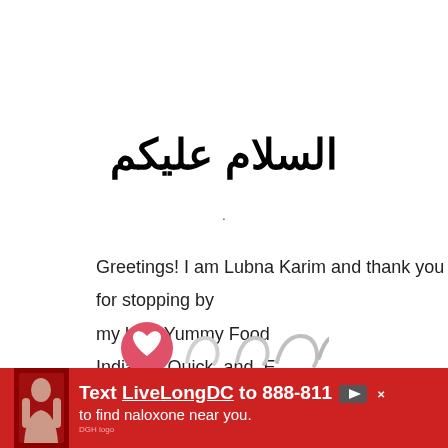السلام عليكم
Greetings! I am Lubna Karim and thank you for stopping by my blog Yummy Food Indian's Quick and E
Read More
[Figure (infographic): Social media icon buttons row: heart icon (filled red/pink circle), and several partial/cropped social icons]
[Figure (infographic): Advertisement banner: Text 'LiveLongDC to 888-811 to find naloxone near you.' on red background with photo of person and DGH logo]